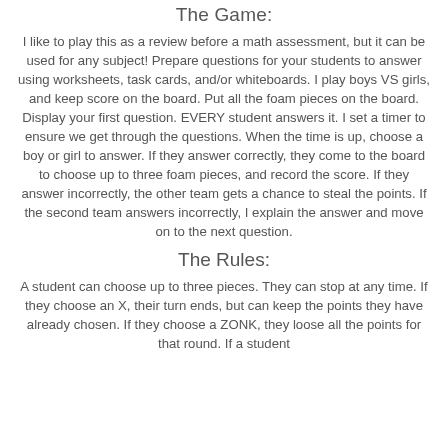The Game:
I like to play this as a review before a math assessment, but it can be used for any subject!  Prepare questions for your students to answer using worksheets, task cards, and/or whiteboards.  I play boys VS girls, and keep score on the board.  Put all the foam pieces on the board.  Display your first question.  EVERY student answers it.  I set a timer to ensure we get through the questions.  When the time is up, choose a boy or girl to answer.  If they answer correctly, they come to the board to choose up to three foam pieces, and record the score.  If they answer incorrectly, the other team gets a chance to steal the points.  If the second team answers incorrectly, I explain the answer and move on to the next question.
The Rules:
A student can choose up to three pieces.  They can stop at any time.  If they choose an X, their turn ends, but can keep the points they have already chosen.  If they choose a ZONK, they loose all the points for that round.  If a student